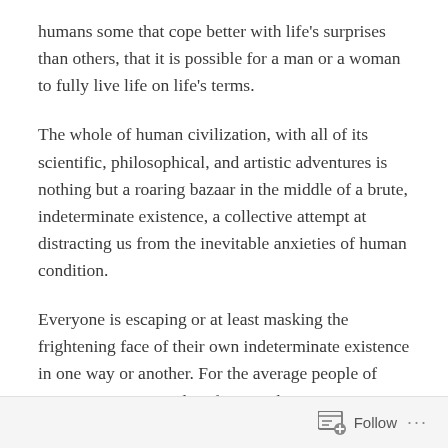humans some that cope better with life's surprises than others, that it is possible for a man or a woman to fully live life on life's terms.
The whole of human civilization, with all of its scientific, philosophical, and artistic adventures is nothing but a roaring bazaar in the middle of a brute, indeterminate existence, a collective attempt at distracting us from the inevitable anxieties of human condition.
Everyone is escaping or at least masking the frightening face of their own indeterminate existence in one way or another. For the average people of average awareness identifying with a career, a mundane bread-winning life, or social masturbation does the job. In the modern times, the so-called educated man, the pride infomanics, finds his
Follow ···